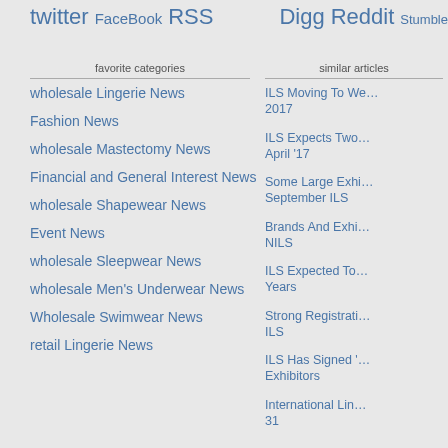twitter FaceBook RSS Digg Reddit Stumble
favorite categories
similar articles
wholesale Lingerie News
Fashion News
wholesale Mastectomy News
Financial and General Interest News
wholesale Shapewear News
Event News
wholesale Sleepwear News
wholesale Men's Underwear News
Wholesale Swimwear News
retail Lingerie News
ILS Moving To We… 2017
ILS Expects Two… April '17
Some Large Exhi… September ILS
Brands And Exhi… NILS
ILS Expected To… Years
Strong Registrati… ILS
ILS Has Signed '… Exhibitors
International Lin… 31